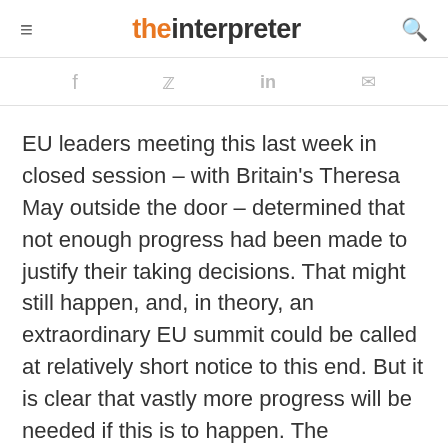the interpreter
EU leaders meeting this last week in closed session – with Britain's Theresa May outside the door – determined that not enough progress had been made to justify their taking decisions. That might still happen, and, in theory, an extraordinary EU summit could be called at relatively short notice to this end. But it is clear that vastly more progress will be needed if this is to happen. The stalemate just reinforces the deep divisions within the Tory party over policy on Brexit.